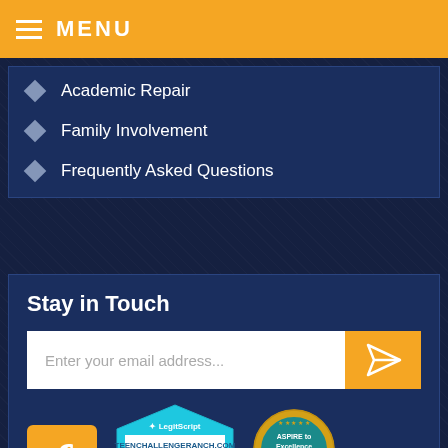MENU
Academic Repair
Family Involvement
Frequently Asked Questions
Stay in Touch
Enter your email address...
[Figure (logo): Facebook orange icon button]
[Figure (logo): LegitScript certified badge for teenchallengeranch.com, dated 08/20/22]
[Figure (logo): CARF Aspire to Excellence accreditation seal]